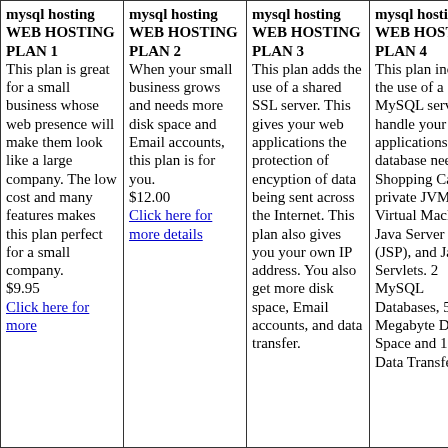| mysql hosting WEB HOSTING PLAN 1 | mysql hosting WEB HOSTING PLAN 2 | mysql hosting WEB HOSTING PLAN 3 | mysql hosting WEB HOSTING PLAN 4 |
| --- | --- | --- | --- |
| This plan is great for a small business whose web presence will make them look like a large company. The low cost and many features makes this plan perfect for a small company. $9.95 Click here for more | When your small business grows and needs more disk space and Email accounts, this plan is for you. $12.00 Click here for more details | This plan adds the use of a shared SSL server. This gives your web applications the protection of encyption of data being sent across the Internet. This plan also gives you your own IP address. You also get more disk space, Email accounts, and data transfer. | This plan includes the use of a MySQL server to handle your applications' database needs, a Shopping Cart, private JVM (Java Virtual Machine), Java Server Pages (JSP), and Java Servlets. 2 MySQL Databases, 500 Megabyte Disk Space and 10 GB Data Transfer per |